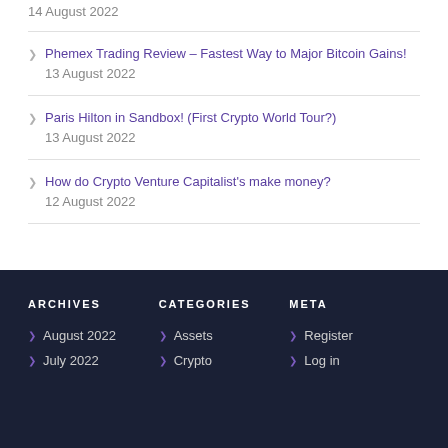14 August 2022
Phemex Trading Review – Fastest Way to Major Bitcoin Gains!
13 August 2022
Paris Hilton in Sandbox! (First Crypto World Tour?)
13 August 2022
How do Crypto Venture Capitalist's make money?
12 August 2022
ARCHIVES
CATEGORIES
META
August 2022
July 2022
Assets
Crypto
Register
Log in